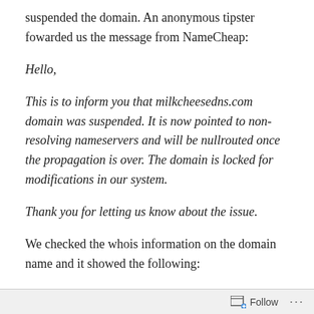suspended the domain. An anonymous tipster fowarded us the message from NameCheap:
Hello,
This is to inform you that milkcheesedns.com domain was suspended. It is now pointed to non-resolving nameservers and will be nullrouted once the propagation is over. The domain is locked for modifications in our system.
Thank you for letting us know about the issue.
We checked the whois information on the domain name and it showed the following:
Domain Name: MILKCHEESEDNS.COM
Follow ...